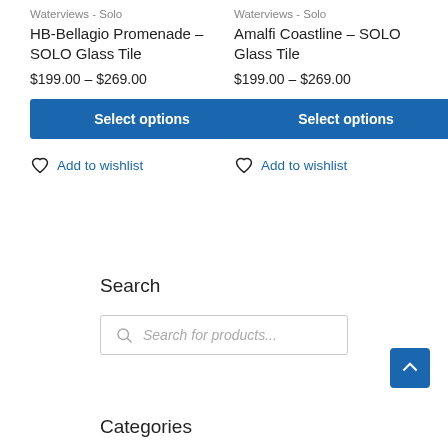Waterviews - Solo
HB-Bellagio Promenade – SOLO Glass Tile
$199.00 – $269.00
Select options
Add to wishlist
Waterviews - Solo
Amalfi Coastline – SOLO Glass Tile
$199.00 – $269.00
Select options
Add to wishlist
Search
Search for products...
Categories